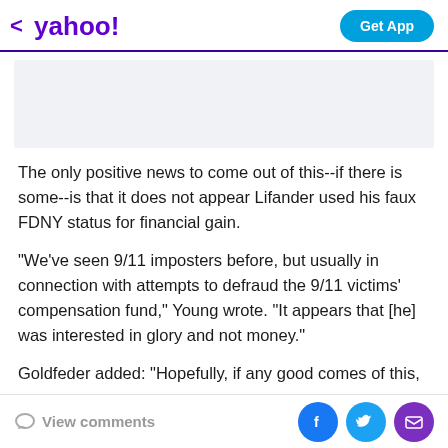< yahoo!   Get App
[Figure (other): Advertisement placeholder box, light gray background]
The only positive news to come out of this--if there is some--is that it does not appear Lifander used his faux FDNY status for financial gain.
"We've seen 9/11 imposters before, but usually in connection with attempts to defraud the 9/11 victims' compensation fund," Young wrote. "It appears that [he] was interested in glory and not money."
Goldfeder added: "Hopefully, if any good comes of this,
View comments